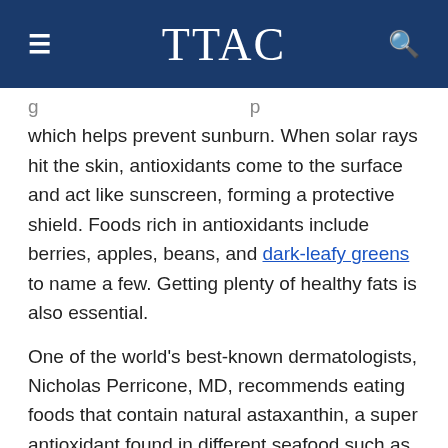TTAC
which helps prevent sunburn. When solar rays hit the skin, antioxidants come to the surface and act like sunscreen, forming a protective shield. Foods rich in antioxidants include berries, apples, beans, and dark-leafy greens to name a few. Getting plenty of healthy fats is also essential.
One of the world's best-known dermatologists, Nicholas Perricone, MD, recommends eating foods that contain natural astaxanthin, a super antioxidant found in different seafood such as wild sockeye salmon, shrimp, lobster, and red trout. Astaxanthin can also be taken as a supplement, and acts as an internal sunscreen for the body. It can also help protect the skin from